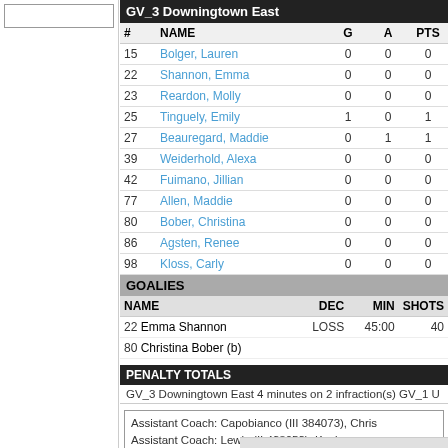GV_3 Downingtown East
| # | NAME | G | A | PTS |
| --- | --- | --- | --- | --- |
| 15 | Bolger, Lauren | 0 | 0 | 0 |
| 22 | Shannon, Emma | 0 | 0 | 0 |
| 23 | Reardon, Molly | 0 | 0 | 0 |
| 25 | Tinguely, Emily | 1 | 0 | 1 |
| 27 | Beauregard, Maddie | 0 | 1 | 1 |
| 39 | Weiderhold, Alexa | 0 | 0 | 0 |
| 42 | Fuimano, Jillian | 0 | 0 | 0 |
| 77 | Allen, Maddie | 0 | 0 | 0 |
| 80 | Bober, Christina | 0 | 0 | 0 |
| 86 | Agsten, Renee | 0 | 0 | 0 |
| 98 | Kloss, Carly | 0 | 0 | 0 |
GOALIES
| NAME | DEC | MIN | SHOTS |
| --- | --- | --- | --- |
| 22 Emma Shannon | LOSS | 45:00 | 40 |
| 80 Christina Bober (b) |  |  |  |
PENALTY TOTALS
GV_3 Downingtown East 4 minutes on 2 infraction(s) GV_1 U
Assistant Coach: Capobianco (III 384073), Chris
Assistant Coach: Lewis (II 438053), Kevin